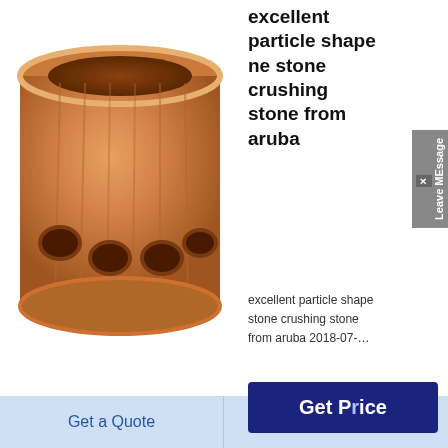[Figure (photo): Bronze/copper cylindrical bushing with circular holes along the bottom half, viewed from a slightly elevated angle showing the interior bore.]
excellent particle shape ne stone crushing stone from aruba
excellent particle shape stone crushing stone from aruba 2018-07-…
[Figure (other): Get Price button in dark blue/navy background with white bold text reading 'Get Price']
[Figure (photo): Shiny golden/brass cylindrical bowl or bushing viewed from above, showing concentric rings inside the bore.]
live championnat: When Chinese Dalkeith Road Edinburgh Tnt
Get a Quote
Chat Now